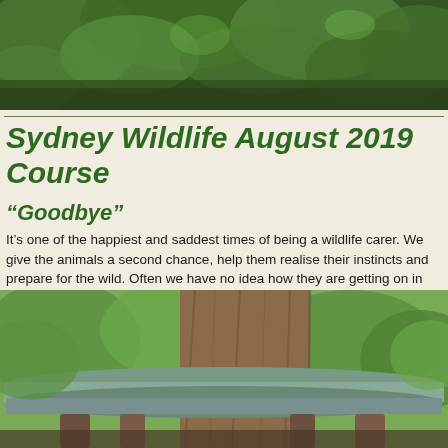[Figure (photo): Outdoor nature photo showing green foliage/trees from above, serving as header banner image]
Sydney Wildlife August 2019 Course
“Goodbye”
It’s one of the happiest and saddest times of being a wildlife carer. We give the animals a second chance, help them realise their instincts and prepare for the wild. Often we have no idea how they are getting on in their natural habitat after release. We can only hope that the months of dedication and sacrifices pay off.
[Figure (photo): Outdoor photo showing a wooden or stone table/platform in front of a large textured tree trunk, with green foliage in background]